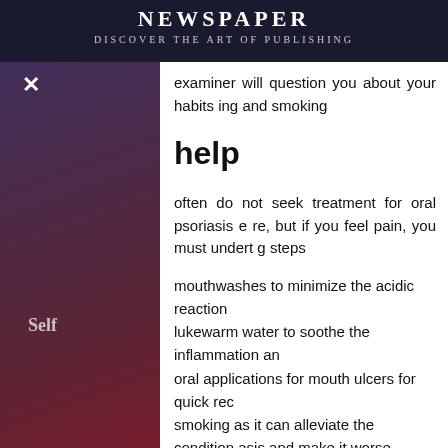NEWSPAPER — DISCOVER THE ART OF PUBLISHING
examiner will question you about your habits ing and smoking
help
often do not seek treatment for oral psoriasis e re, but if you feel pain, you must undert g steps
mouthwashes to minimize the acidic reaction
lukewarm water to soothe the inflammation an
oral applications for mouth ulcers for quick rec
smoking as it can alleviate the condition asis and make it worse